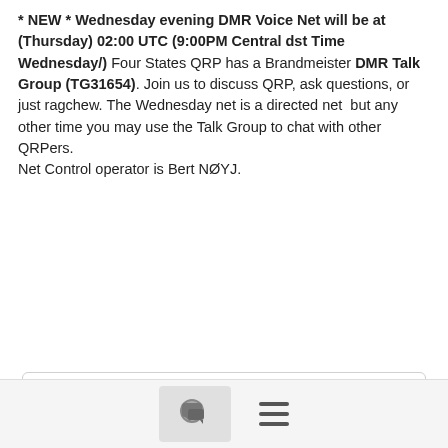* NEW * Wednesday evening DMR Voice Net will be at (Thursday) 02:00 UTC (9:00PM Central dst Time Wednesday/) Four States QRP has a Brandmeister DMR Talk Group (TG31654). Join us to discuss QRP, ask questions, or just ragchew. The Wednesday net is a directed net but any other time you may use the Talk Group to chat with other QRPers. Net Control operator is Bert NØYJ.
[Figure (other): Blue calendar icon with grid of white squares representing dates]
Calendar
[Figure (other): Blue calendar icon (partial, second card, cropped at bottom of page)]